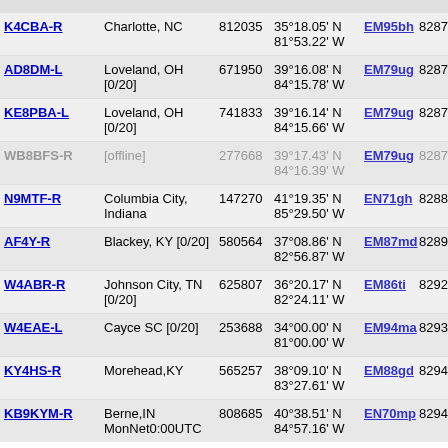| Callsign | Location | ID | Coordinates | Grid | Dist | Freq |
| --- | --- | --- | --- | --- | --- | --- |
| K4CBA-R | Charlotte, NC | 812035 | 35°18.05' N 81°53.22' W | EM95bh | 8287.6 | 443.0 |
| AD8DM-L | Loveland, OH [0/20] | 671950 | 39°16.08' N 84°15.78' W | EM79ug | 8287.6 |  |
| KE8PBA-L | Loveland, OH [0/20] | 741833 | 39°16.14' N 84°15.66' W | EM79ug | 8287.7 |  |
| WB8BFS-R | [offline] | 277668 | 39°17.43' N 84°16.39' W | EM79ug | 8287.8 | 443.8 |
| N9MTF-R | Columbia City, Indiana | 147270 | 41°19.35' N 85°29.50' W | EN71gh | 8288.1 | 147.2 |
| AF4Y-R | Blackey, KY [0/20] | 580564 | 37°08.86' N 82°56.87' W | EM87md | 8289.8 |  |
| W4ABR-R | Johnson City, TN [0/20] | 625807 | 36°20.17' N 82°24.11' W | EM86ti | 8292.9 |  |
| W4EAE-L | Cayce SC [0/20] | 253688 | 34°00.00' N 81°00.00' W | EM94ma | 8293.2 |  |
| KY4HS-R | Morehead,KY | 565257 | 38°09.10' N 83°27.61' W | EM88gd | 8294.2 | 146.9 |
| KB9KYM-R | Berne,IN MonNet0:00UTC | 808685 | 40°38.51' N 84°57.16' W | EN70mp | 8294.2 | 146.9 |